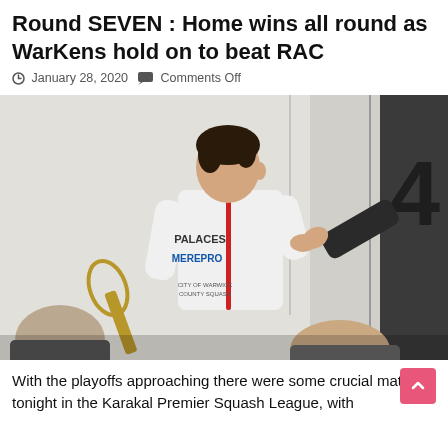Round SEVEN : Home wins all round as WarKens hold on to beat RAC
January 28, 2020   Comments Off
[Figure (photo): A squash player wearing a white shirt with 'PALACES' and 'MEREPRO' branding, seen from behind, shaking hands with someone after a match. A large number '4' is visible on the wall, and spectators are visible in the foreground.]
With the playoffs approaching there were some crucial matches tonight in the Karakal Premier Squash League, with